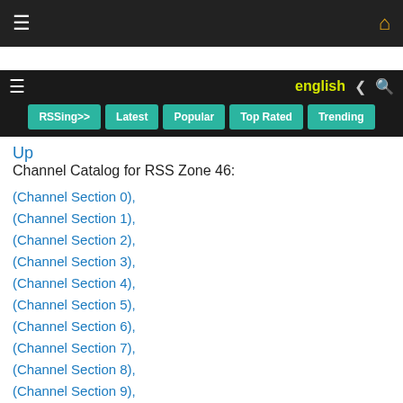≡  🏠
≡  english  share  search  RSSing>>  Latest  Popular  Top Rated  Trending
Up
Channel Catalog for RSS Zone 46:
(Channel Section 0),
(Channel Section 1),
(Channel Section 2),
(Channel Section 3),
(Channel Section 4),
(Channel Section 5),
(Channel Section 6),
(Channel Section 7),
(Channel Section 8),
(Channel Section 9),
(Channel Section 10),